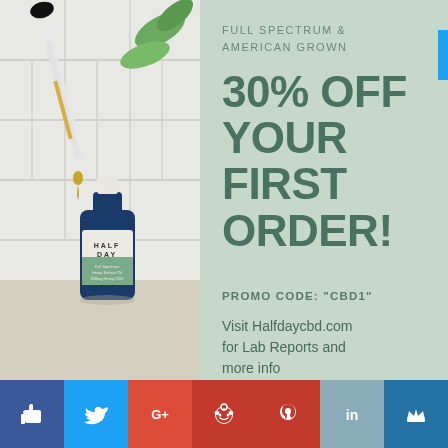[Figure (photo): A blue glass bottle of Half Day CBD oil with a dropper dispensing golden oil drops, white tile background with green plant leaves]
FULL SPECTRUM & AMERICAN GROWN
30% OFF YOUR FIRST ORDER!
PROMO CODE: "CBD1"
Visit Halfdaycbd.com for Lab Reports and more info
[Figure (infographic): Social media share bar with Facebook, Twitter, Google+, Reddit, Pinterest, LinkedIn, and Crown icons]